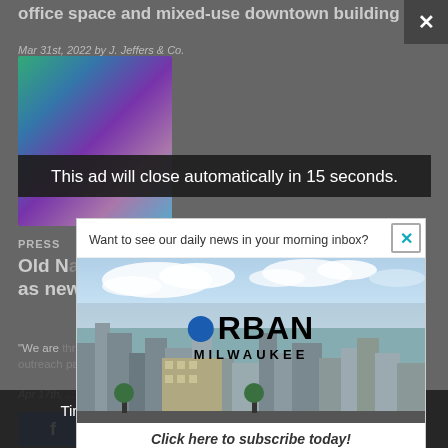office space and mixed-use downtown building
Mar 31st, 2022 by J. Jeffers & Co.
[Figure (photo): Colorful abstract mural artwork photo (partially visible, dimmed background)]
PRESS
Old N... as newest ...
"We are ... newest ... Apr 17th, ...
This ad will close automatically in 15 seconds.
[Figure (screenshot): Urban Milwaukee newsletter subscription popup. Contains header text 'Want to see our daily news in your morning inbox?', a city skyline photo with the Urban Milwaukee logo overlaid, and a call-to-action 'Click here to subscribe today!']
Tired of seeing banner ads on Urban Milwaukee? Become a member for $9/month.